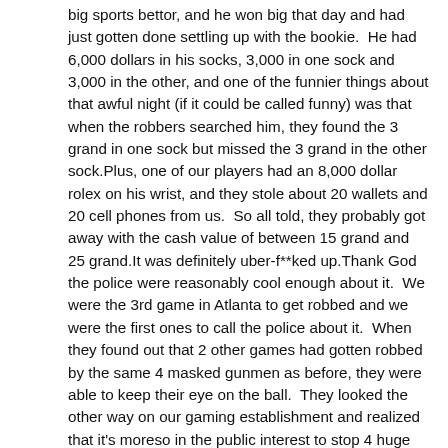big sports bettor, and he won big that day and had just gotten done settling up with the bookie.  He had 6,000 dollars in his socks, 3,000 in one sock and 3,000 in the other, and one of the funnier things about that awful night (if it could be called funny) was that when the robbers searched him, they found the 3 grand in one sock but missed the 3 grand in the other sock.Plus, one of our players had an 8,000 dollar rolex on his wrist, and they stole about 20 wallets and 20 cell phones from us.  So all told, they probably got away with the cash value of between 15 grand and 25 grand.It was definitely uber-f**ked up.Thank God the police were reasonably cool enough about it.  We were the 3rd game in Atlanta to get robbed and we were the first ones to call the police about it.  When they found out that 2 other games had gotten robbed by the same 4 masked gunmen as before, they were able to keep their eye on the ball.  They looked the other way on our gaming establishment and realized that it's moreso in the public interest to stop 4 huge n**gers with guns than it is to bust four 19 year old kids for felony commercial gambling (which they could have done, and which would have really REALLY sucked).P.S.  Before